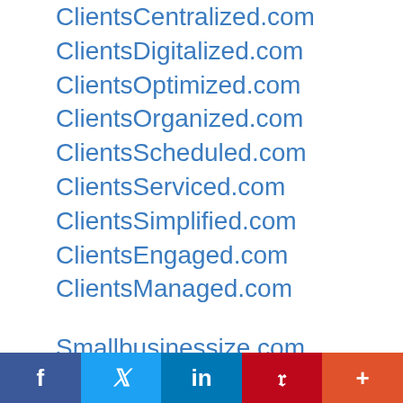ClientsCentralized.com
ClientsDigitalized.com
ClientsOptimized.com
ClientsOrganized.com
ClientsScheduled.com
ClientsServiced.com
ClientsSimplified.com
ClientsEngaged.com
ClientsManaged.com
Smallbusinessize.com
Smallbusinessizze.com
BusinessApps101.com
BusinessSoftware101.com
Appointmentizze.com
Automateizze.com
Bookkeepizze.com